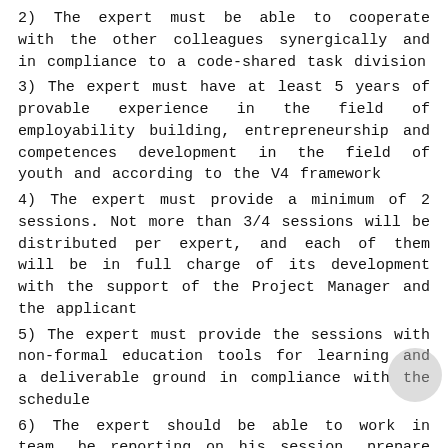2) The expert must be able to cooperate with the other colleagues synergically and in compliance to a code-shared task division
3) The expert must have at least 5 years of provable experience in the field of employability building, entrepreneurship and competences development in the field of youth and according to the V4 framework
4) The expert must provide a minimum of 2 sessions. Not more than 3/4 sessions will be distributed per expert, and each of them will be in full charge of its development with the support of the Project Manager and the applicant
5) The expert must provide the sessions with non-formal education tools for learning and a deliverable ground in compliance with the schedule
6) The expert should be able to work in team, be reporting on his session, prepare eventual presentation and request materials in compliance to his/her session and communicate with the applicant for any other business